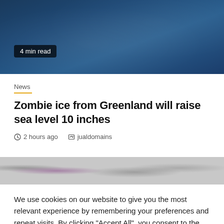[Figure (photo): Dark blue underwater or aerial ocean scene with light reflections]
4 min read
News
Zombie ice from Greenland will raise sea level 10 inches
2 hours ago   jualdomains
[Figure (photo): Black and white close-up image with a purple circular element, possibly microscopy or satellite image]
We use cookies on our website to give you the most relevant experience by remembering your preferences and repeat visits. By clicking "Accept All", you consent to the use of ALL the cookies. However, you may visit "Cookie Settings" to provide a controlled consent.
Cookie Settings   Accept All